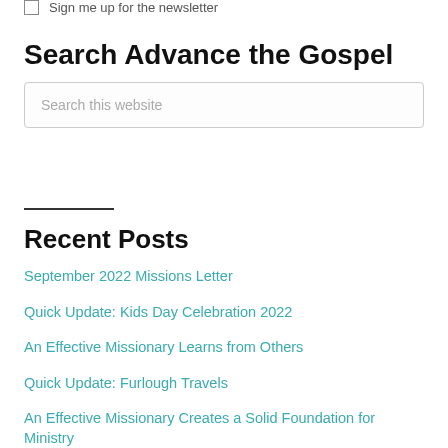Sign me up for the newsletter
Search Advance the Gospel
Search this website
Recent Posts
September 2022 Missions Letter
Quick Update: Kids Day Celebration 2022
An Effective Missionary Learns from Others
Quick Update: Furlough Travels
An Effective Missionary Creates a Solid Foundation for Ministry